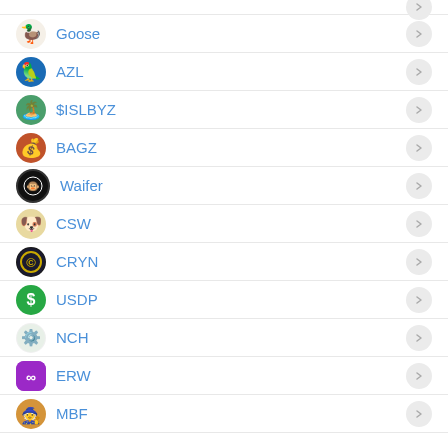Goose
AZL
$ISLBYZ
BAGZ
Waifer
CSW
CRYN
USDP
NCH
ERW
MBF